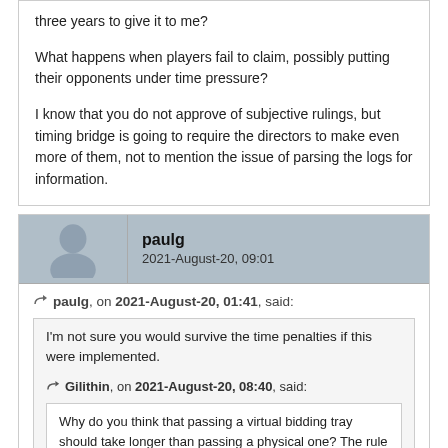three years to give it to me?

What happens when players fail to claim, possibly putting their opponents under time pressure?

I know that you do not approve of subjective rulings, but timing bridge is going to require the directors to make even more of them, not to mention the issue of parsing the logs for information.
paulg
2021-August-20, 09:01
paulg, on 2021-August-20, 01:41, said:
I'm not sure you would survive the time penalties if this were implemented.
Gilithin, on 2021-August-20, 08:40, said:
Why do you think that passing a virtual bidding tray should take longer than passing a physical one? The rule I suggested for this was taken with reason directly from current screen rules.